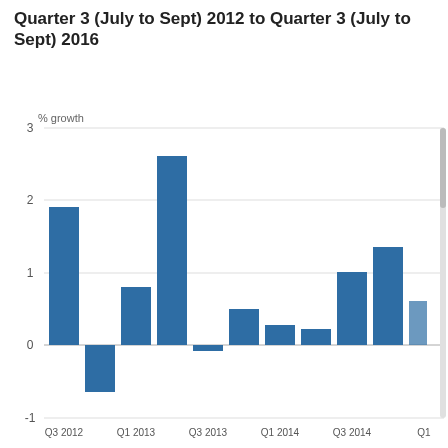Quarter 3 (July to Sept) 2012 to Quarter 3 (July to Sept) 2016
[Figure (bar-chart): % growth]